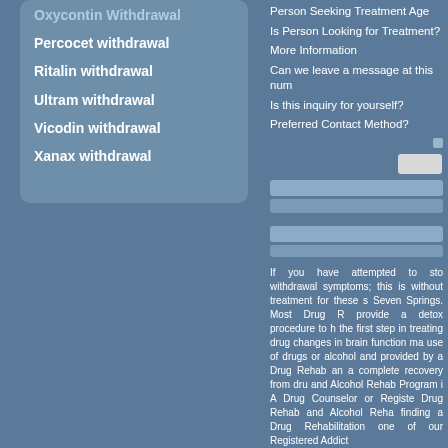Oxycontin Withdrawal
Percocet withdrawal
Ritalin withdrawal
Ultram withdrawal
Vicodin withdrawal
Xanax withdrawal
Person Seeking Treatment Age
Is Person Looking for Treatment?
More Information
Can we leave a message at this num
Is this inquiry for yourself?
Preferred Contact Method?
If you have attempted to sto withdrawal symptoms; this is without treatment for these s Seven Springs. Most Drug R provide a detox procedure to h the first step in treating drug changes in brain function ma use of drugs or alcohol and provided by a Drug Rehab an a complete recovery from dru and Alcohol Rehab Program i A Drug Counselor or Registe Drug Rehab and Alcohol Reha finding a Drug Rehabilitation one of our Registered Addict